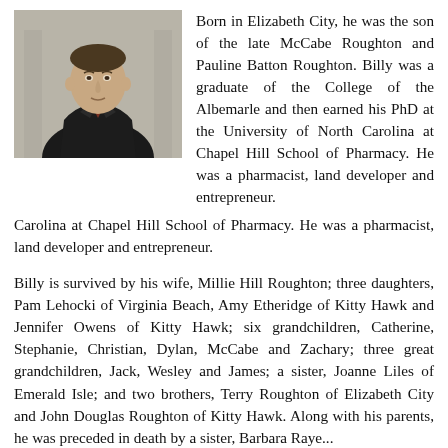[Figure (photo): Black and white or color photograph of a man in a suit and tie, appearing to be a professional portrait photo used in an obituary.]
Born in Elizabeth City, he was the son of the late McCabe Roughton and Pauline Batton Roughton. Billy was a graduate of the College of the Albemarle and then earned his PhD at the University of North Carolina at Chapel Hill School of Pharmacy. He was a pharmacist, land developer and entrepreneur.
Billy is survived by his wife, Millie Hill Roughton; three daughters, Pam Lehocki of Virginia Beach, Amy Etheridge of Kitty Hawk and Jennifer Owens of Kitty Hawk; six grandchildren, Catherine, Stephanie, Christian, Dylan, McCabe and Zachary; three great grandchildren, Jack, Wesley and James; a sister, Joanne Liles of Emerald Isle; and two brothers, Terry Roughton of Elizabeth City and John Douglas Roughton of Kitty Hawk. Along with his parents, he was preceded in death by a sister, Barbara Raye...